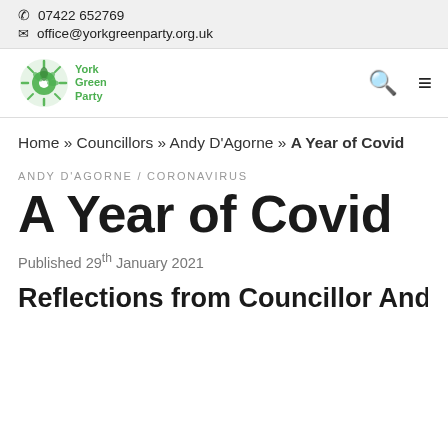📞 07422 652769
✉ office@yorkgreenparty.org.uk
[Figure (logo): York Green Party logo — circular green emblem with sun/leaves motif and text 'York Green Party']
Home » Councillors » Andy D'Agorne » A Year of Covid
ANDY D'AGORNE / CORONAVIRUS
A Year of Covid
Published 29th January 2021
Reflections from Councillor Andy D'A…